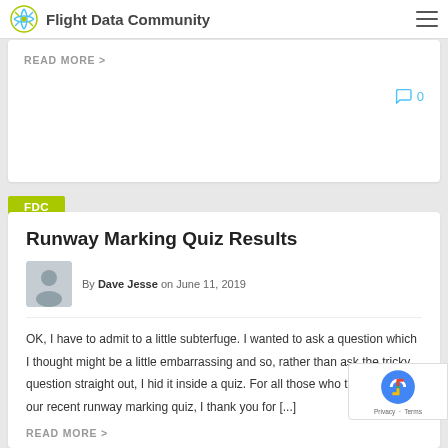Flight Data Community
READ MORE >
0
FDC
Runway Marking Quiz Results
By Dave Jesse on June 11, 2019
OK, I have to admit to a little subterfuge.  I wanted to ask a question which I thought might be a little embarrassing and so, rather than ask the tricky question straight out, I hid it inside a quiz.  For all those who took part in our recent runway marking quiz, I thank you for [...]
READ MORE >